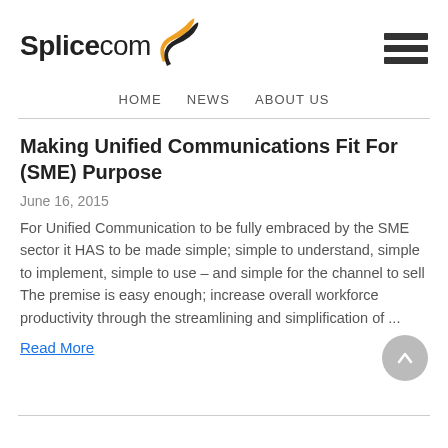Splicecom [logo] | HOME  NEWS  ABOUT US
Making Unified Communications Fit For (SME) Purpose
June 16, 2015
For Unified Communication to be fully embraced by the SME sector it HAS to be made simple; simple to understand, simple to implement, simple to use – and simple for the channel to sell The premise is easy enough; increase overall workforce productivity through the streamlining and simplification of ...
Read More